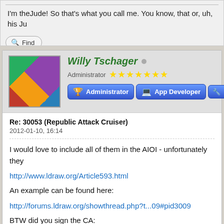I'm theJude! So that's what you call me. You know, that or, uh, his Ju
Find
Willy Tschager
Administrator ★★★★★★★
Administrator  App Developer
Re: 30053 (Republic Attack Cruiser)
2012-01-10, 16:14
I would love to include all of them in the AIOI - unfortunately they
http://www.ldraw.org/Article593.html
An example can be found here:
http://forums.ldraw.org/showthread.php?t...09#pid3009
BTW did you sign the CA: